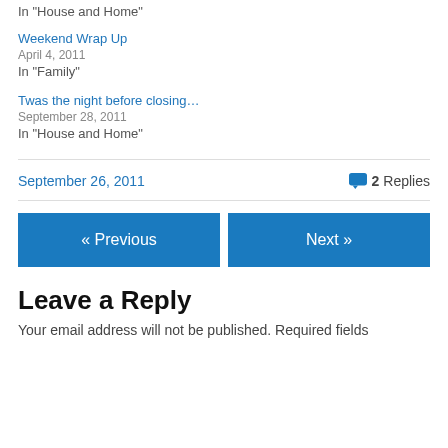In "House and Home"
Weekend Wrap Up
April 4, 2011
In "Family"
Twas the night before closing…
September 28, 2011
In "House and Home"
September 26, 2011    2 Replies
« Previous    Next »
Leave a Reply
Your email address will not be published. Required fields